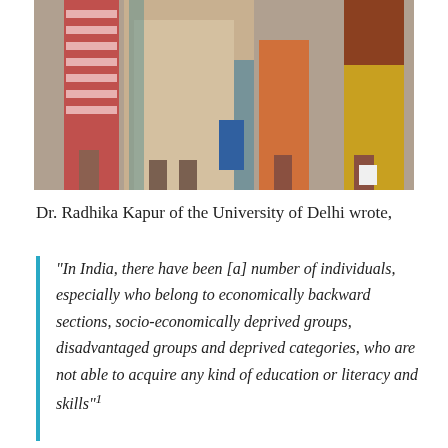[Figure (photo): Photograph showing several people standing, including children and adults in colorful traditional clothing, viewed from approximately waist down.]
Dr. Radhika Kapur of the University of Delhi wrote,
“In India, there have been [a] number of individuals, especially who belong to economically backward sections, socio-economically deprived groups, disadvantaged groups and deprived categories, who are not able to acquire any kind of education or literacy and skills”